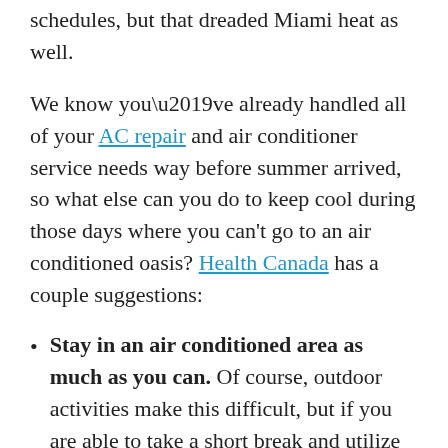schedules, but that dreaded Miami heat as well.
We know you’ve already handled all of your AC repair and air conditioner service needs way before summer arrived, so what else can you do to keep cool during those days where you can’t go to an air conditioned oasis? Health Canada has a couple suggestions:
Stay in an air conditioned area as much as you can. Of course, outdoor activities make this difficult, but if you are able to take a short break and utilize an air conditioned building at a park or a vehicle’s air conditioning, do it.